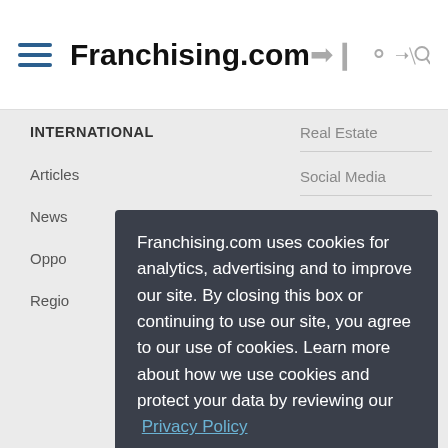Franchising.com
INTERNATIONAL
Articles
News
Oppo[rtunities]
Regio[ns]
Real Estate
Social Media
Technology
Telecommunications
Franchising.com uses cookies for analytics, advertising and to improve our site. By closing this box or continuing to use our site, you agree to our use of cookies. Learn more about how we use cookies and protect your data by reviewing our  Privacy Policy
I Accept
Franchise Leadership &